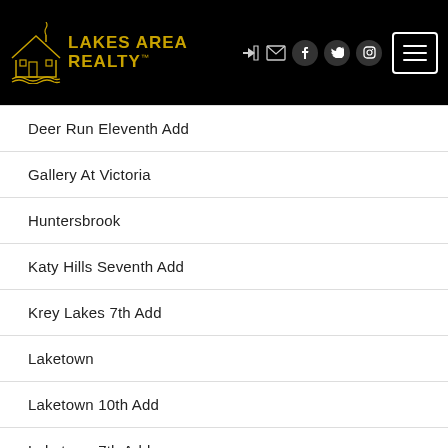[Figure (logo): Lakes Area Realty logo with house/lake icon in gold on black background, with navigation icons (login, mail, Facebook, Twitter, Instagram) and hamburger menu button]
Deer Run Eleventh Add
Gallery At Victoria
Huntersbrook
Katy Hills Seventh Add
Krey Lakes 7th Add
Laketown
Laketown 10th Add
Laketown 7th Add